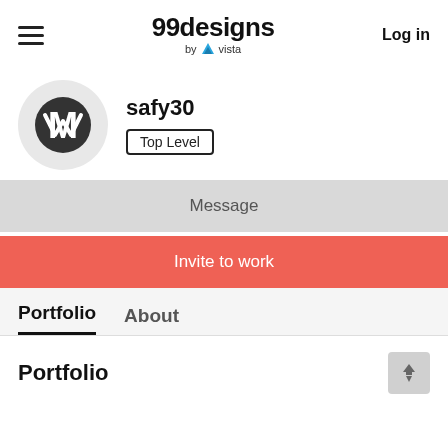[Figure (logo): 99designs by vista logo with hamburger menu and Log in button]
[Figure (illustration): Profile avatar circle with stylized M/V logo mark in dark circle on light grey background]
safy30
Top Level
Message
Invite to work
Portfolio
About
Portfolio